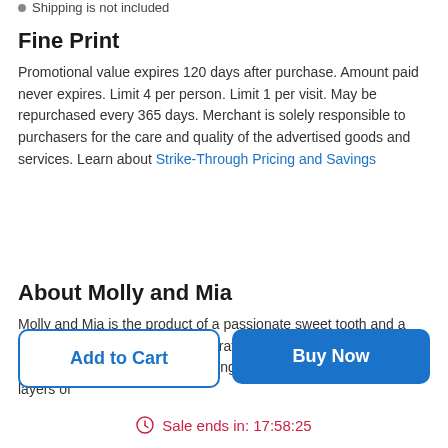Shipping is not included
Fine Print
Promotional value expires 120 days after purchase. Amount paid never expires. Limit 4 per person. Limit 1 per visit. May be repurchased every 365 days. Merchant is solely responsible to purchasers for the care and quality of the advertised goods and services. Learn about Strike-Through Pricing and Savings
About Molly and Mia
Molly and Mia is the product of a passionate sweet tooth and a love for making others smile. It crafts gift packages from its arsenal of creative sweets, packing-up jars of cupcakes—moist layers of
Add to Cart
Buy Now
Sale ends in: 17:58:25